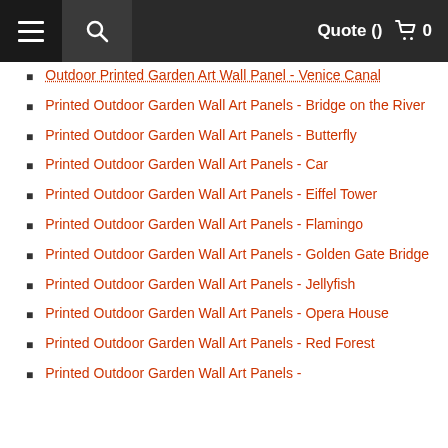≡  🔍  Quote ()  🛒 0
Outdoor Printed Garden Art Wall Panel - Venice Canal
Printed Outdoor Garden Wall Art Panels - Bridge on the River
Printed Outdoor Garden Wall Art Panels - Butterfly
Printed Outdoor Garden Wall Art Panels - Car
Printed Outdoor Garden Wall Art Panels - Eiffel Tower
Printed Outdoor Garden Wall Art Panels - Flamingo
Printed Outdoor Garden Wall Art Panels - Golden Gate Bridge
Printed Outdoor Garden Wall Art Panels - Jellyfish
Printed Outdoor Garden Wall Art Panels - Opera House
Printed Outdoor Garden Wall Art Panels - Red Forest
Printed Outdoor Garden Wall Art Panels -